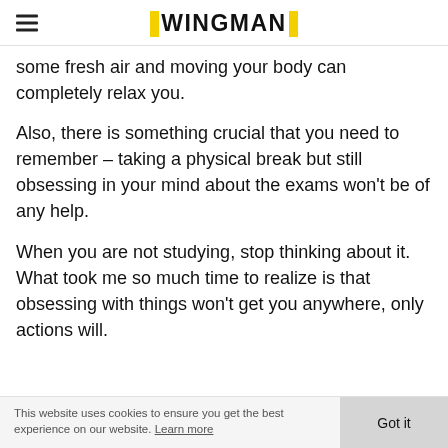WINGMAN
some fresh air and moving your body can completely relax you.
Also, there is something crucial that you need to remember – taking a physical break but still obsessing in your mind about the exams won't be of any help.
When you are not studying, stop thinking about it. What took me so much time to realize is that obsessing with things won't get you anywhere, only actions will.
This website uses cookies to ensure you get the best experience on our website. Learn more  Got it